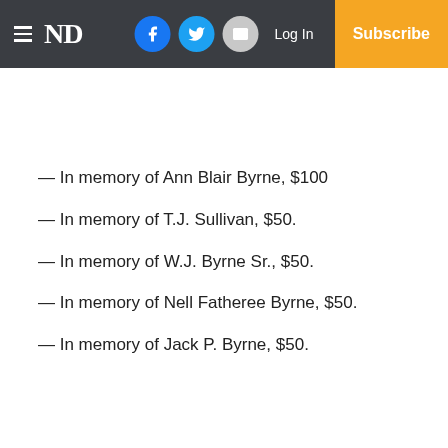ND — Log In — Subscribe
— In memory of Ann Blair Byrne, $100
— In memory of T.J. Sullivan, $50.
— In memory of W.J. Byrne Sr., $50.
— In memory of Nell Fatheree Byrne, $50.
— In memory of Jack P. Byrne, $50.